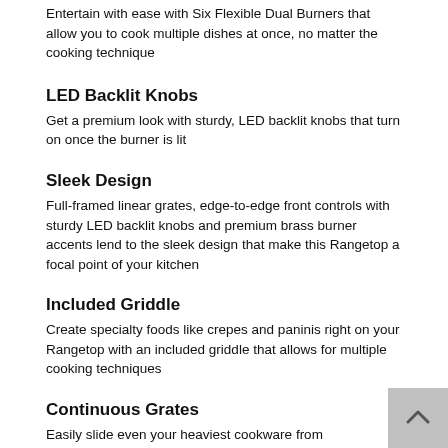Entertain with ease with Six Flexible Dual Burners that allow you to cook multiple dishes at once, no matter the cooking technique
LED Backlit Knobs
Get a premium look with sturdy, LED backlit knobs that turn on once the burner is lit
Sleek Design
Full-framed linear grates, edge-to-edge front controls with sturdy LED backlit knobs and premium brass burner accents lend to the sleek design that make this Rangetop a focal point of your kitchen
Included Griddle
Create specialty foods like crepes and paninis right on your Rangetop with an included griddle that allows for multiple cooking techniques
Continuous Grates
Easily slide even your heaviest cookware from burner to burner with our continuous grates that also lend to the sleek look of the cooktop
Platinum Star® Limited Warranty